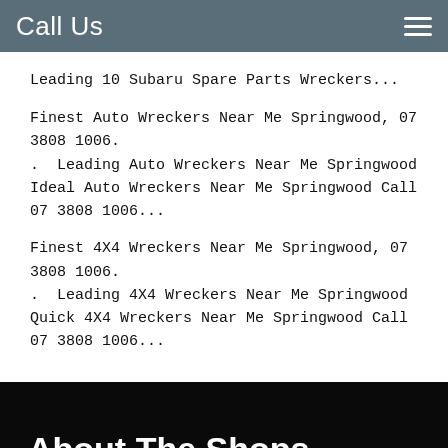Call Us
Leading 10 Subaru Spare Parts Wreckers...
Finest Auto Wreckers Near Me Springwood, 07 3808 1006. . Leading Auto Wreckers Near Me Springwood Ideal Auto Wreckers Near Me Springwood Call 07 3808 1006...
Finest 4X4 Wreckers Near Me Springwood, 07 3808 1006. . Leading 4X4 Wreckers Near Me Springwood Quick 4X4 Wreckers Near Me Springwood Call 07 3808 1006...
About The Shops
CALL NOW
DIRECTIONS